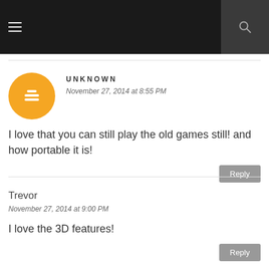≡  🔍
UNKNOWN
November 27, 2014 at 8:55 PM
I love that you can still play the old games still! and how portable it is!
Trevor
November 27, 2014 at 9:00 PM
I love the 3D features!